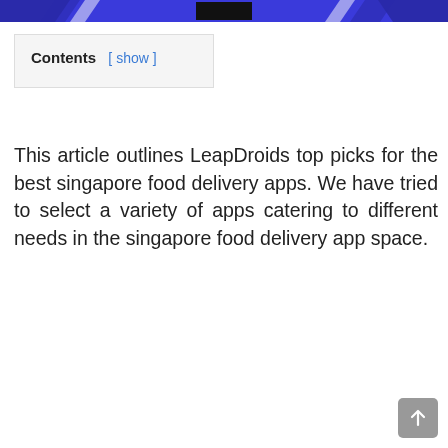Contents [ show ]
This article outlines LeapDroids top picks for the best singapore food delivery apps. We have tried to select a variety of apps catering to different needs in the singapore food delivery app space.